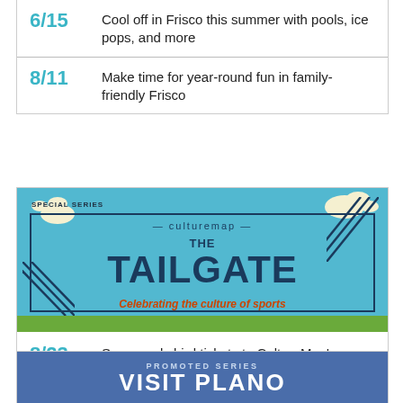6/15 — Cool off in Frisco this summer with pools, ice pops, and more
8/11 — Make time for year-round fun in family-friendly Frisco
[Figure (illustration): CultureMap special series banner reading THE TAILGATE — Celebrating the culture of sports, with sky blue background, clouds, grass at bottom, and diagonal line accents]
8/23 — Score early bird tickets to CultureMap's new signature event, The Tailgate
[Figure (illustration): Bottom partial banner: PROMOTED SERIES — VISIT PLANO (partially visible)]